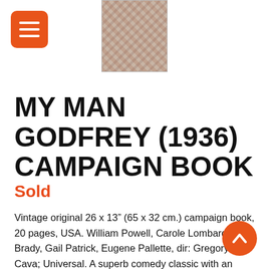[Figure (photo): Thumbnail image of the My Man Godfrey (1936) campaign book cover, showing a vintage collage-style movie press book with text and imagery in red and dark tones.]
MY MAN GODFREY (1936) CAMPAIGN BOOK
Sold
Vintage original 26 x 13” (65 x 32 cm.) campaign book, 20 pages, USA. William Powell, Carole Lombard, Alice Brady, Gail Patrick, Eugene Pallette, dir: Gregory La Cava; Universal. A superb comedy classic with an always contemporary moral lesson, basically summed up with Godfrey’s (William Powell) one line “The only difference between a man and a derelict is a job.” The brilliant script by Eric Hatch and Morris Ryskind was Academy Award nominated as were actors Powell, Lombard, Auer and Brady. Director La Cava got an Oscar nomination as well, to no avail, though with rightful acknowledgement